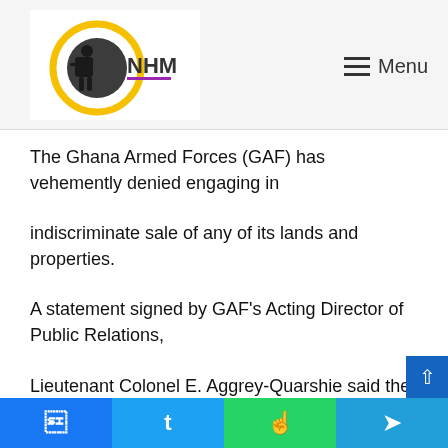NHM — Menu
The Ghana Armed Forces (GAF) has vehemently denied engaging in
indiscriminate sale of any of its lands and properties.
A statement signed by GAF's Acting Director of Public Relations,
Lieutenant Colonel E. Aggrey-Quarshie said the various allegations
which have been leveled against the GAF administration are either